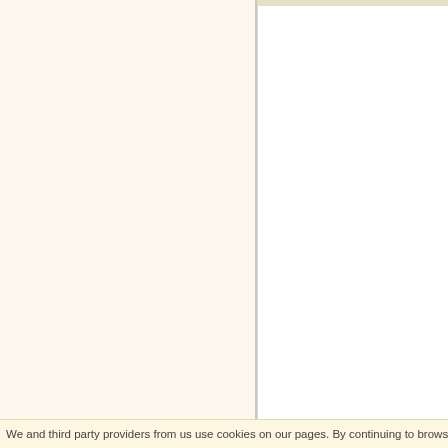[Figure (screenshot): Left panel with cream/beige background, empty content area]
[Figure (screenshot): Right panel white background with top tan bar, empty content area]
Evaluations of ARTURO VAR
[Figure (screenshot): User avatar placeholder with person silhouette icon]
To evaluate this co
We and third party providers from us use cookies on our pages. By continuing to browse our